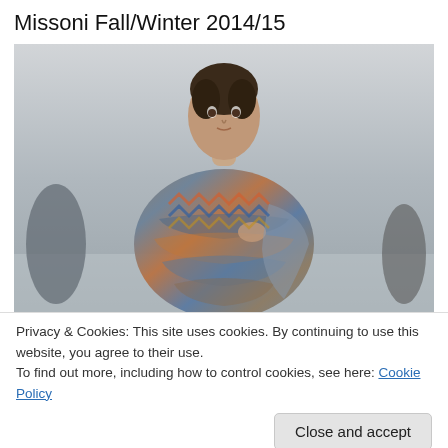Missoni Fall/Winter 2014/15
[Figure (photo): A male model on a runway wearing a large colorful zigzag-patterned knit wrap/coat by Missoni. Background is gray runway environment with partial figures visible on sides.]
Privacy & Cookies: This site uses cookies. By continuing to use this website, you agree to their use.
To find out more, including how to control cookies, see here: Cookie Policy
Close and accept